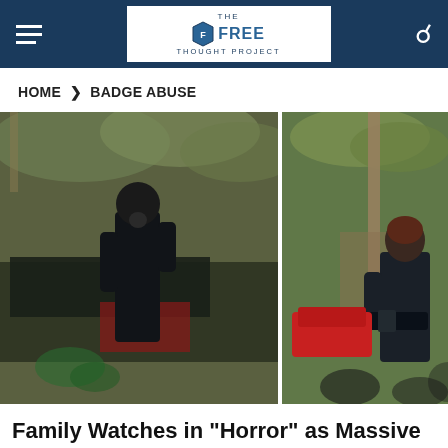THE FREE THOUGHT PROJECT
HOME > BADGE ABUSE
[Figure (photo): Two side-by-side video stills showing police officers in a parking lot. Left image shows a person in dark clothing standing near police vehicles. Right image shows a police officer from behind near a red car, with a red circle annotation highlighting something in the lower right area.]
Family Watches in "Horror" as Massive